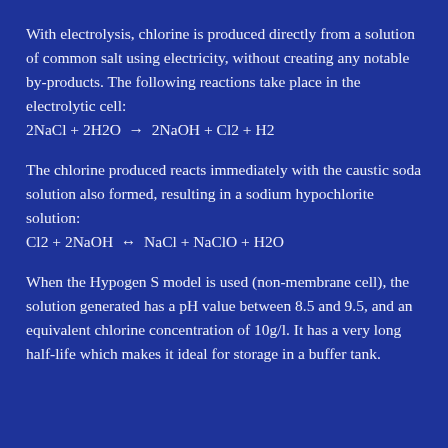With electrolysis, chlorine is produced directly from a solution of common salt using electricity, without creating any notable by-products. The following reactions take place in the electrolytic cell:
The chlorine produced reacts immediately with the caustic soda solution also formed, resulting in a sodium hypochlorite solution:
When the Hypogen S model is used (non-membrane cell), the solution generated has a pH value between 8.5 and 9.5, and an equivalent chlorine concentration of 10g/l. It has a very long half-life which makes it ideal for storage in a buffer tank.